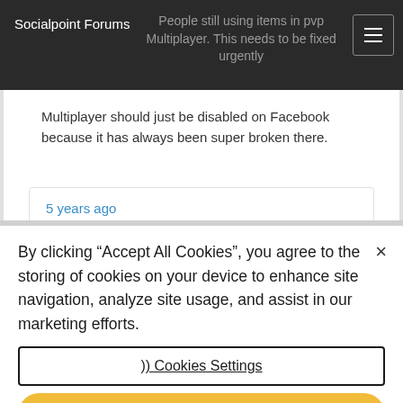Socialpoint Forums
People still using items in pvp Multiplayer. This needs to be fixed urgently
Multiplayer should just be disabled on Facebook because it has always been super broken there.
5 years ago
By clicking “Accept All Cookies”, you agree to the storing of cookies on your device to enhance site navigation, analyze site usage, and assist in our marketing efforts.
) ) Cookies Settings
Accept All Cookies